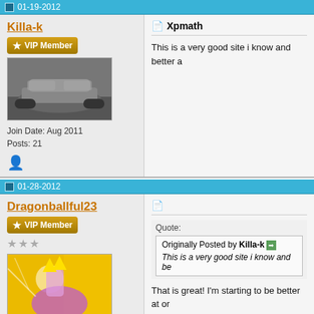01-19-2012
Killa-k
VIP Member
[Figure (photo): Avatar image of a sports car]
Join Date: Aug 2011
Posts: 21
Xpmath
This is a very good site i know and better a
01-28-2012
Dragonballful23
VIP Member
[Figure (photo): Avatar image of a Dragon Ball Z character with yellow/purple colors]
Join Date: Dec 2011
Posts: 336
Quote:
Originally Posted by Killa-k
This is a very good site i know and be
That is great! I'm starting to be better at or
Finally finished all my tests!!!
I am ekko main now ^_^